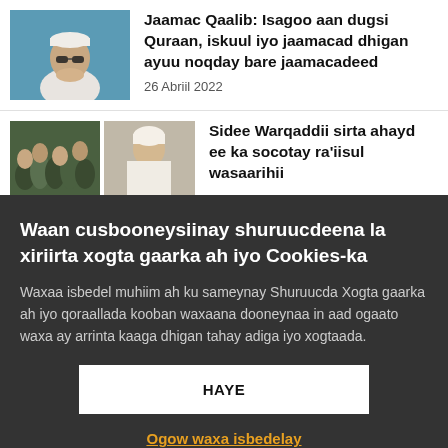[Figure (photo): Photo of an elderly man wearing a white cap and white shirt, against a blue background]
Jaamac Qaalib: Isagoo aan dugsi Quraan, iskuul iyo jaamacad dhigan ayuu noqday bare jaamacadeed
26 Abriil 2022
[Figure (photo): Two photos: left shows a crowd of people, right shows a man in white religious garments]
Sidee Warqaddii sirta ahayd ee ka socotay ra'iisul wasaarihii
Waan cusbooneysiinay shuruucdeena la xiriirta xogta gaarka ah iyo Cookies-ka
Waxaa isbedel muhiim ah ku sameynay Shuruucda Xogta gaarka ah iyo qoraallada kooban waxaana dooneynaa in aad ogaato waxa ay arrinta kaaga dhigan tahay adiga iyo xogtaada.
HAYE
Ogow waxa isbedelay